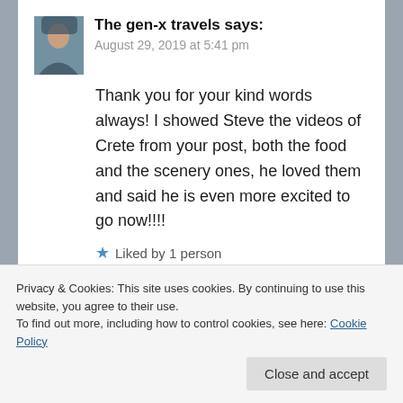[Figure (photo): Avatar/profile photo of The gen-x travels blogger]
The gen-x travels says:
August 29, 2019 at 5:41 pm
Thank you for your kind words always! I showed Steve the videos of Crete from your post, both the food and the scenery ones, he loved them and said he is even more excited to go now!!!!
★ Liked by 1 person
Reply
Privacy & Cookies: This site uses cookies. By continuing to use this website, you agree to their use.
To find out more, including how to control cookies, see here: Cookie Policy
Close and accept